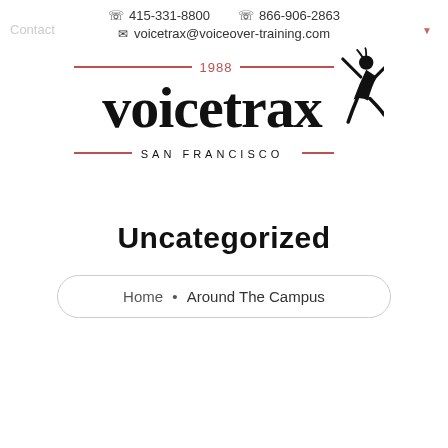☏ 415-331-8800   ☏ 866-906-2863
✉ voicetrax@voiceover-training.com
[Figure (logo): Voicetrax San Francisco logo with 1988 date, decorative horizontal lines, large 'voicetrax' wordmark in serif/sans font, 'SAN FRANCISCO' subtitle, and a silhouette figure of a person jumping/dancing to the right.]
Uncategorized
Home • Around The Campus